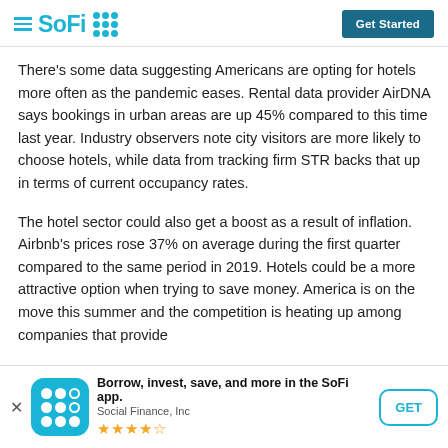SoFi — Get Started
There's some data suggesting Americans are opting for hotels more often as the pandemic eases. Rental data provider AirDNA says bookings in urban areas are up 45% compared to this time last year. Industry observers note city visitors are more likely to choose hotels, while data from tracking firm STR backs that up in terms of current occupancy rates.
The hotel sector could also get a boost as a result of inflation. Airbnb's prices rose 37% on average during the first quarter compared to the same period in 2019. Hotels could be a more attractive option when trying to save money. America is on the move this summer and the competition is heating up among companies that provide
Borrow, invest, save, and more in the SoFi app. Social Finance, Inc ★★★★½ GET